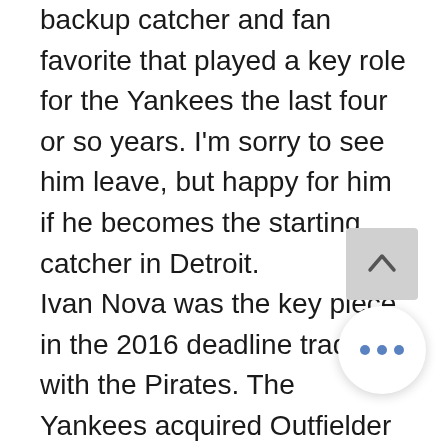backup catcher and fan favorite that played a key role for the Yankees the last four or so years. I'm sorry to see him leave, but happy for him if he becomes the starting catcher in Detroit.
Ivan Nova was the key piece in the 2016 deadline trade with the Pirates. The Yankees acquired Outfielder Tito Polo and Pitcher Stephan Tarpley.
Polo was then part of the trade with the White Sox that landed Todd Frazier, David Robertson and Tommy Kahnle a year later.
Another trade I'd make again.
Nova spent 5 ½ years with the Yankees and is a competent middle of the rotation starting pitcher. He is currently a Detroit Tiger.
Zach McAllister was traded to the